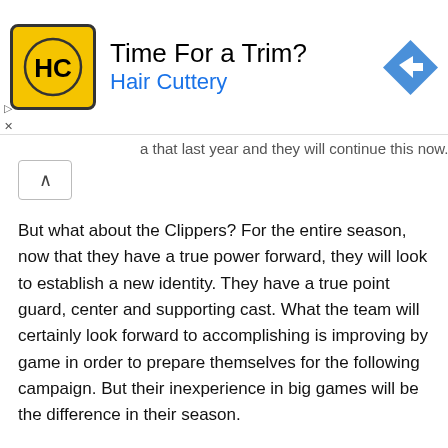[Figure (illustration): Hair Cuttery advertisement banner with logo (HC in yellow circle), text 'Time For a Trim? Hair Cuttery', and blue diamond navigation arrow icon]
a that last year and they will continue this now.
But what about the Clippers? For the entire season, now that they have a true power forward, they will look to establish a new identity. They have a true point guard, center and supporting cast. What the team will certainly look forward to accomplishing is improving by game in order to prepare themselves for the following campaign. But their inexperience in big games will be the difference in their season.
Blake Griffin will be the Rookie of the Year, no doubt. The Clippers can certainly make a case in themselves to make the playoffs in one of the two last seeds, but it will be hard.
MVP of 2009-2010: Lebron James